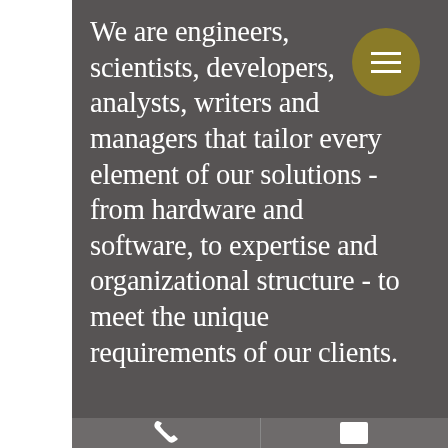We are engineers, scientists, developers, analysts, writers and managers that tailor every element of our solutions - from hardware and software, to expertise and organizational structure - to meet the unique requirements of our clients.
[Figure (other): Circular hamburger menu button in gold/olive color with three horizontal white lines]
[Figure (other): Bottom navigation bar with phone icon on left and envelope/mail icon on right, separated by a vertical divider line]